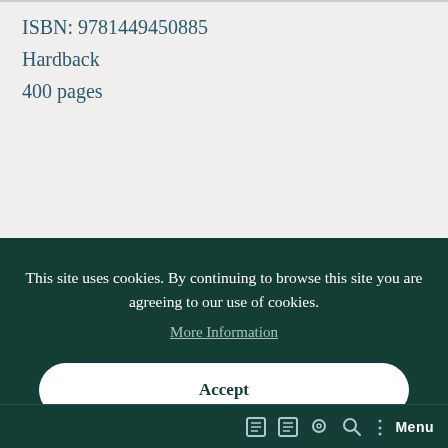ISBN: 9781449450885
Hardback
400 pages
This site uses cookies. By continuing to browse this site you are agreeing to our use of cookies.
More Information
Accept
Menu